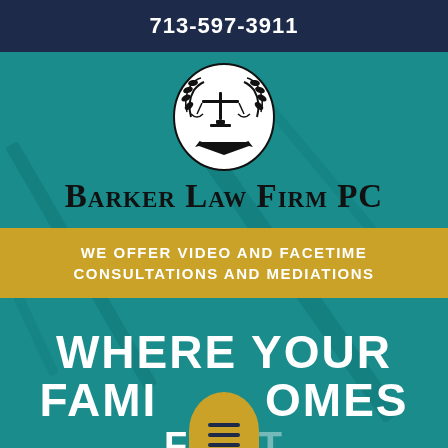713-597-3911
[Figure (logo): Barker Law Firm PC logo — oval badge with scales of justice and laurel wreath, black and white]
Barker Law Firm PC
WE OFFER VIDEO AND FACETIME CONSULTATIONS AND MEDIATIONS
WHERE YOUR FAMILY COMES FIRST